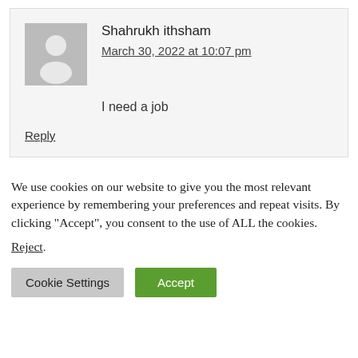Shahrukh ithsham
March 30, 2022 at 10:07 pm
I need a job
Reply
We use cookies on our website to give you the most relevant experience by remembering your preferences and repeat visits. By clicking “Accept”, you consent to the use of ALL the cookies.
Reject.
Cookie Settings
Accept